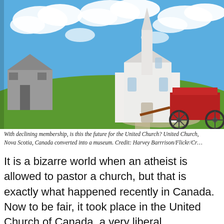[Figure (photo): A white church with a steeple in a rural Canadian setting under a blue sky with clouds. A weathered grey barn is to the left and a red antique farm wagon/equipment is in the foreground right. Green grass and a gravel path visible.]
With declining membership, is this the future for the United Church? United Church, Nova Scotia, Canada converted into a museum. Credit: Harvey Barrrison/Flickr/Cr…
It is a bizarre world when an atheist is allowed to pastor a church, but that is exactly what happened recently in Canada. Now to be fair, it took place in the United Church of Canada, a very liberal denomination and holds some flexible opinions on God, Jesus and the Bible.